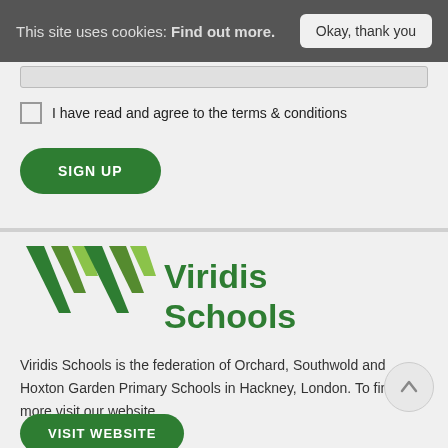This site uses cookies: Find out more.   Okay, thank you
I have read and agree to the terms & conditions
SIGN UP
[Figure (logo): Viridis Schools logo with green V chevron mark and green text]
Viridis Schools is the federation of Orchard, Southwold and Hoxton Garden Primary Schools in Hackney, London. To find out more visit our website.
VISIT WEBSITE